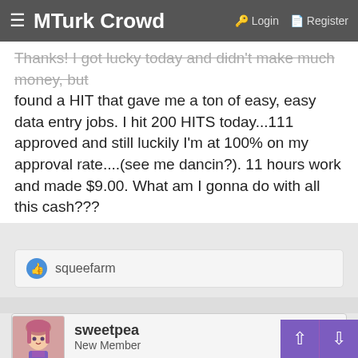MTurk Crowd  Login  Register
Thanks! I got lucky today and didn't make much money, but found a HIT that gave me a ton of easy, easy data entry jobs. I hit 200 HITS today...111 approved and still luckily I'm at 100% on my approval rate....(see me dancin?). 11 hours work and made $9.00. What am I gonna do with all this cash???
squeefarm
sweetpea
New Member
Dec 16, 2017   #8
MICHAEL BUDAY said:
Thanks for the welcome! I got lucky today and found 1 HIT that only paid .02 a job, but they were ridiciulously easy and did 7 HITS through them in less than 5 hours. I just hit my 200 HIT, 111 approved. Not much money made today....but got a nice